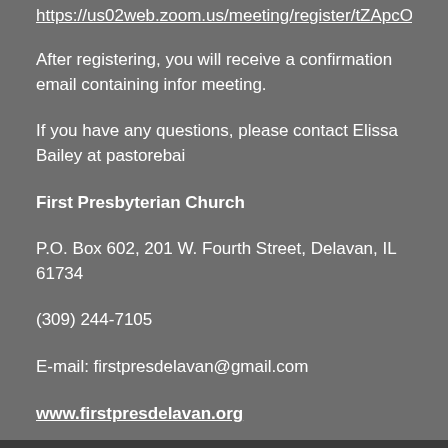https://us02web.zoom.us/meeting/register/tZApcOGhqjosHdPk3QuRE...
After registering, you will receive a confirmation email containing information about joining the meeting.
If you have any questions, please contact Elissa Bailey at pastorebailey...
First Presbyterian Church
P.O. Box 602, 201 W. Fourth Street, Delavan, IL 61734
(309) 244-7105
E-mail: firstpresdelavan@gmail.com
www.firstpresdelavan.org
Rev. Jean Sparks, Pastor
Linda Clauser, Organist